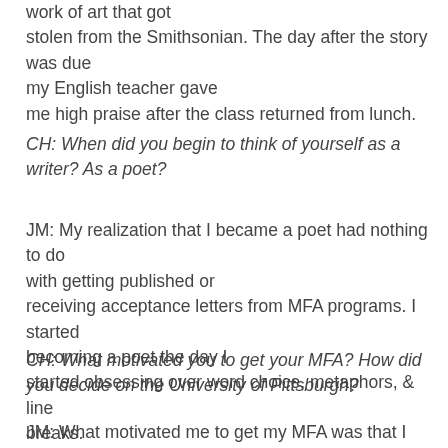work of art that got stolen from the Smithsonian. The day after the story was due my English teacher gave me high praise after the class returned from lunch.
CH: When did you begin to think of yourself as a writer? As a poet?
JM: My realization that I became a poet had nothing to do with getting published or receiving acceptance letters from MFA programs. I started becoming a poet the day I started obsessing over word choice, metaphors, & line breaks.
CH: What motivated you to get your MFA? How did you decide on the University of Pittsburgh?
JM: What motivated me to get my MFA was that I needed to